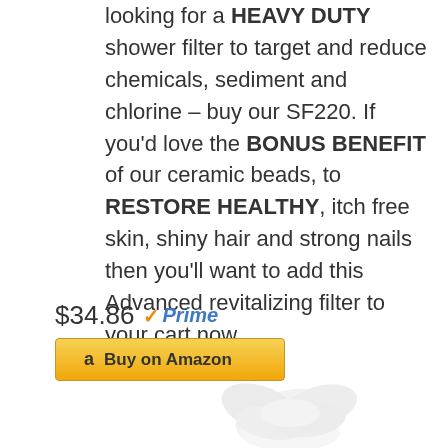looking for a HEAVY DUTY shower filter to target and reduce chemicals, sediment and chlorine – buy our SF220. If you'd love the BONUS BENEFIT of our ceramic beads, to RESTORE HEALTHY, itch free skin, shiny hair and strong nails then you'll want to add this Advanced revitalizing filter to your cart now.
$34.86 ✓Prime
[Figure (other): Amazon Buy on Amazon button with Amazon logo]
[Figure (photo): White flower petals product image at bottom of page]